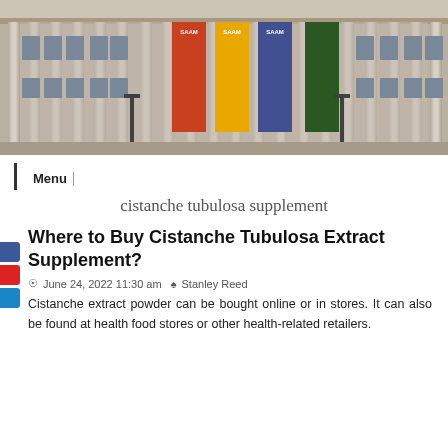[Figure (photo): Photograph of a neoclassical building facade with tall columns and colorful banners/posters hanging between the columns. The banners show portraits and appear to be museum exhibition advertisements labeled SAAM.]
Menu
cistanche tubulosa supplement
Where to Buy Cistanche Tubulosa Extract Supplement?
June 24, 2022 11:30 am  Stanley Reed
Cistanche extract powder can be bought online or in stores. It can also be found at health food stores or other health-related retailers.